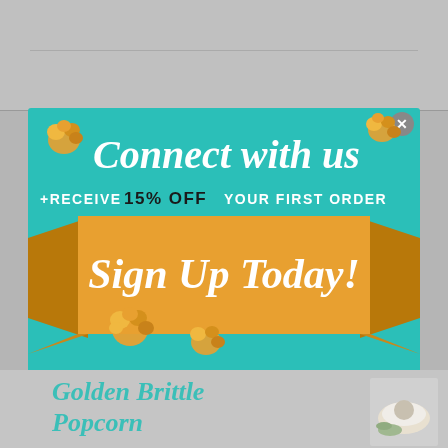[Figure (infographic): Promotional popup overlay on a website. Teal background with 'Connect with us' heading in white cursive, '+RECEIVE 15% OFF YOUR FIRST ORDER' in uppercase, a golden banner ribbon with 'Sign Up Today!' in white cursive script, decorative popcorn pieces, an email address input field, and a SUBMIT button. Below the popup is a partially visible website page showing 'Golden Brittle Popcorn' text and a food image.]